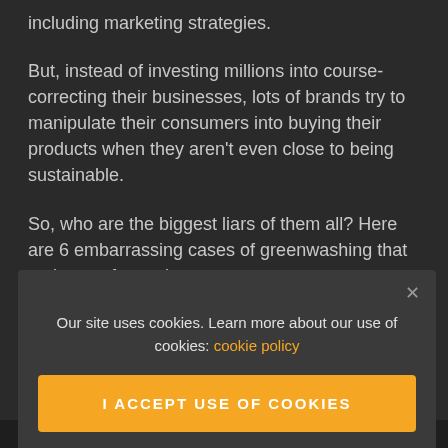including marketing strategies.
But, instead of investing millions into course-correcting their businesses, lots of brands try to manipulate their consumers into buying their products when they aren't even close to being sustainable.
So, who are the biggest liars of them all? Here are 6 embarrassing cases of greenwashing that make you facepalm.
Our site uses cookies. Learn more about our use of cookies: cookie policy
I ACCEPT USE OF COOKIES